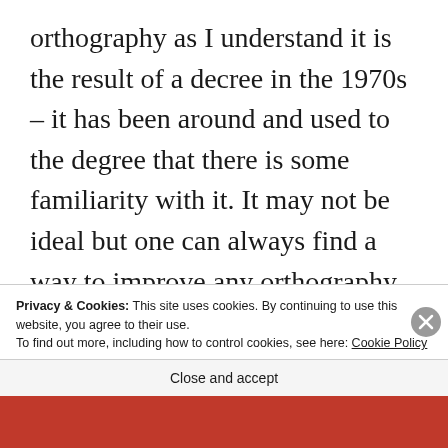orthography as I understand it is the result of a decree in the 1970s – it has been around and used to the degree that there is some familiarity with it. It may not be ideal but one can always find a way to improve any orthography and even a totally inconsistent orthography such as English has or a really complicated one like Chinese can work successfully if you just stay with
Privacy & Cookies: This site uses cookies. By continuing to use this website, you agree to their use.
To find out more, including how to control cookies, see here: Cookie Policy
Close and accept